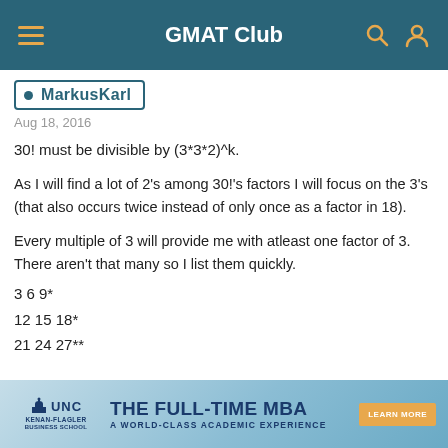GMAT Club
MarkusKarl
Aug 18, 2016
30! must be divisible by (3*3*2)^k.
As I will find a lot of 2's among 30!'s factors I will focus on the 3's (that also occurs twice instead of only once as a factor in 18).
Every multiple of 3 will provide me with atleast one factor of 3. There aren't that many so I list them quickly.
3 6 9*
12 15 18*
21 24 27**
[Figure (infographic): UNC Kenan-Flagler Business School advertisement banner: THE FULL-TIME MBA — A WORLD-CLASS ACADEMIC EXPERIENCE with LEARN MORE button]